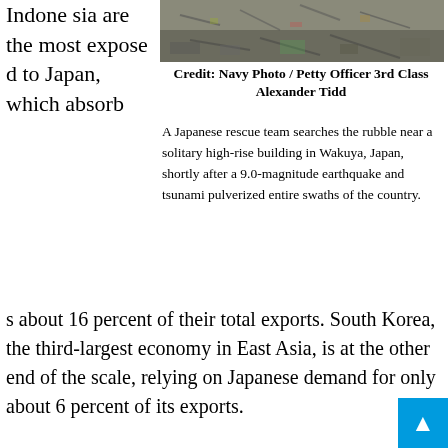[Figure (photo): Aerial or ground-level image of rubble and debris from earthquake/tsunami disaster area in Japan]
Credit: Navy Photo / Petty Officer 3rd Class Alexander Tidd
Indone sia are the most expose d to Japan, which absorb s about 16 percent of their total exports. South Korea, the third-largest economy in East Asia, is at the other end of the scale, relying on Japanese demand for only about 6 percent of its exports.
A Japanese rescue team searches the rubble near a solitary high-rise building in Wakuya, Japan, shortly after a 9.0-magnitude earthquake and tsunami pulverized entire swaths of the country.
But the narrow view misses the most critical consideration: this “Japan shock” has not occurred at a time of great economic strength. That is true not only of Japan itself, where two lost decades have left a once-vigorous econom